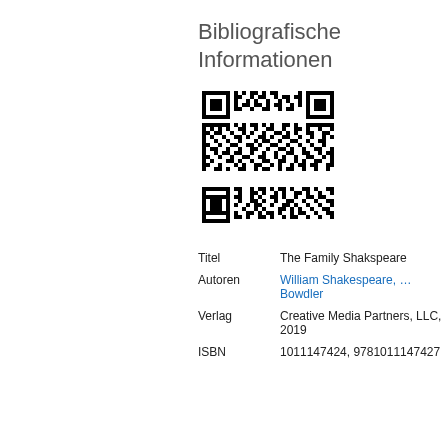Bibliografische Informationen
[Figure (other): QR code linking to bibliographic information for The Family Shakspeare]
| Titel | The Family Shakspeare |
| Autoren | William Shakespeare, Bowdler |
| Verlag | Creative Media Partners, LLC, 2019 |
| ISBN | 1011147424, 9781011147427 |